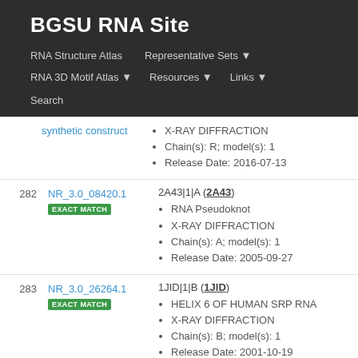BGSU RNA Site
RNA Structure Atlas | Representative Sets ▼ | RNA 3D Motif Atlas ▼ | Resources ▼ | Links ▼ | Search
| # | ID / Match | Entry Info |
| --- | --- | --- |
|  | synthetic construct | X-RAY DIFFRACTION
Chain(s): R; model(s): 1
Release Date: 2016-07-13 |
| 282 | NR_3.0_08420.1
EXACT MATCH | 2A43|1|A (2A43)
RNA Pseudoknot
X-RAY DIFFRACTION
Chain(s): A; model(s): 1
Release Date: 2005-09-27 |
| 283 | NR_3.0_26264.1
EXACT MATCH | 1JID|1|B (1JID)
HELIX 6 OF HUMAN SRP RNA
X-RAY DIFFRACTION
Chain(s): B; model(s): 1
Release Date: 2001-10-19 |